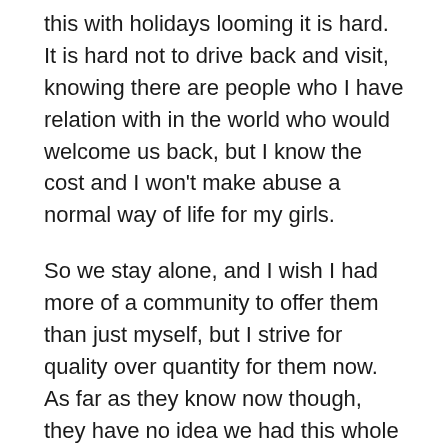this with holidays looming it is hard. It is hard not to drive back and visit, knowing there are people who I have relation with in the world who would welcome us back, but I know the cost and I won't make abuse a normal way of life for my girls.
So we stay alone, and I wish I had more of a community to offer them than just myself, but I strive for quality over quantity for them now. As far as they know now though, they have no idea we had this whole family that is now far behind us. Someday I'll tell them the truth, but for now I think it's better that they don't long for the idealized version of these people.